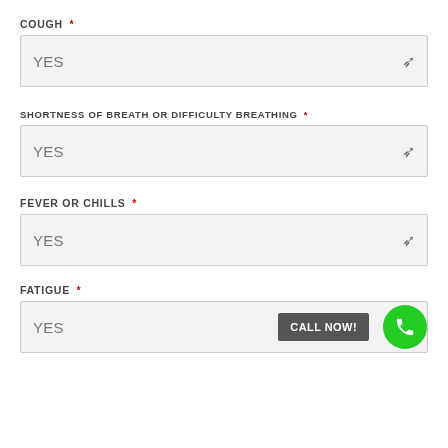COUGH *
YES
SHORTNESS OF BREATH OR DIFFICULTY BREATHING *
YES
FEVER OR CHILLS *
YES
FATIGUE *
YES
CALL NOW!